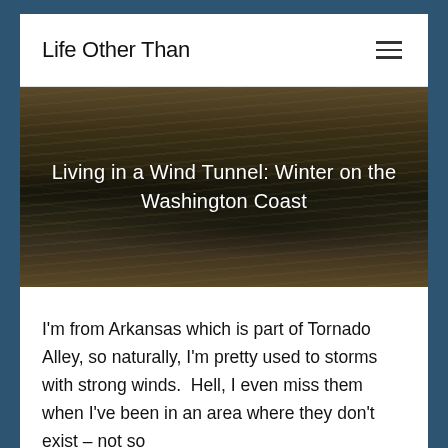Life Other Than
[Figure (photo): Hero image showing a stormy coastal beach scene with sand and waves, sepia/dark tones, with text overlay.]
Living in a Wind Tunnel: Winter on the Washington Coast
I'm from Arkansas which is part of Tornado Alley, so naturally, I'm pretty used to storms with strong winds.  Hell, I even miss them when I've been in an area where they don't exist – not so